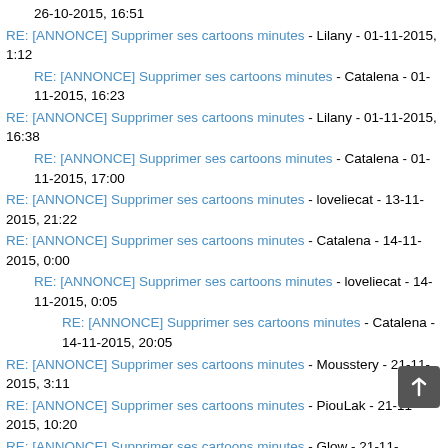26-10-2015, 16:51
RE: [ANNONCE] Supprimer ses cartoons minutes - Lilany - 01-11-2015, 1:12
RE: [ANNONCE] Supprimer ses cartoons minutes - Catalena - 01-11-2015, 16:23
RE: [ANNONCE] Supprimer ses cartoons minutes - Lilany - 01-11-2015, 16:38
RE: [ANNONCE] Supprimer ses cartoons minutes - Catalena - 01-11-2015, 17:00
RE: [ANNONCE] Supprimer ses cartoons minutes - loveliecat - 13-11-2015, 21:22
RE: [ANNONCE] Supprimer ses cartoons minutes - Catalena - 14-11-2015, 0:00
RE: [ANNONCE] Supprimer ses cartoons minutes - loveliecat - 14-11-2015, 0:05
RE: [ANNONCE] Supprimer ses cartoons minutes - Catalena - 14-11-2015, 20:05
RE: [ANNONCE] Supprimer ses cartoons minutes - Mousstery - 21-11-2015, 3:11
RE: [ANNONCE] Supprimer ses cartoons minutes - PiouLak - 21-11-2015, 10:20
RE: [ANNONCE] Supprimer ses cartoons minutes - Glow - 21-11-